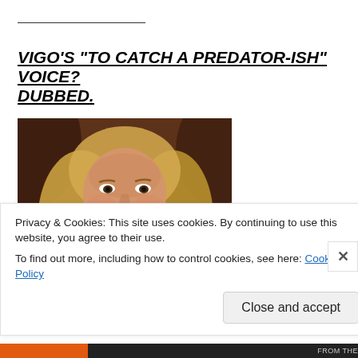_______________
VIGO'S “TO CATCH A PREDATOR-ISH” VOICE? DUBBED.
[Figure (photo): A man with long blond hair and a slight smile, wearing dark armored clothing, appearing to be a movie villain character (Vigo from Ghostbusters II).]
Privacy & Cookies: This site uses cookies. By continuing to use this website, you agree to their use.
To find out more, including how to control cookies, see here: Cookie Policy
Close and accept